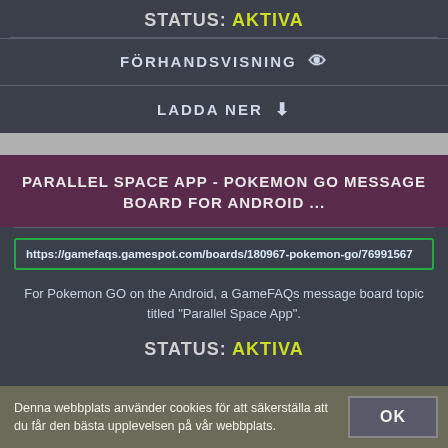manager.
STATUS: AKTIVA
FÖRHANDSVISNING 👁
LADDA NER ⬇
PARALLEL SPACE APP - POKEMON GO MESSAGE BOARD FOR ANDROID ...
https://gamefaqs.gamespot.com/boards/180967-pokemon-go/76991567
For Pokemon GO on the Android, a GameFAQs message board topic titled "Parallel Space App".
STATUS: AKTIVA
Denna webbplats använder cookies för att säkerställa att du får den bästa upplevelsen på vår webbplats.